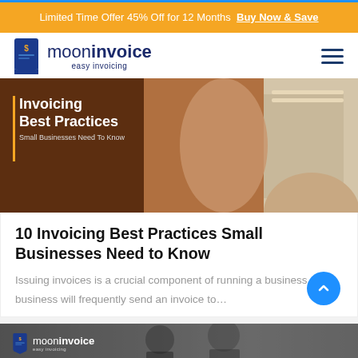Limited Time Offer 45% Off for 12 Months Buy Now & Save
[Figure (logo): Moon Invoice logo with ribbon icon and text 'mooninvoice easy invoicing']
[Figure (photo): Hero image showing a person filing invoices with text overlay: 'Invoicing Best Practices Small Businesses Need To Know']
10 Invoicing Best Practices Small Businesses Need to Know
Issuing invoices is a crucial component of running a business. A business will frequently send an invoice to...
[Figure (screenshot): Bottom preview showing Moon Invoice logo over a dark business background image]